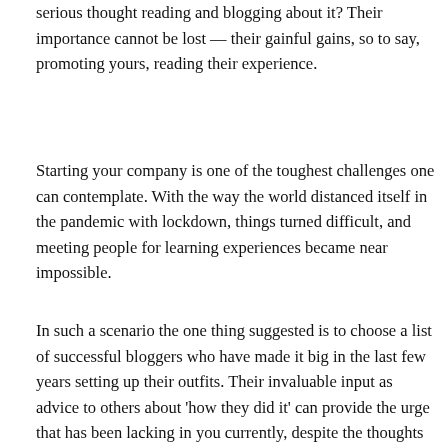serious thought reading and blogging about it? Their importance cannot be lost — their gainful gains, so to say, promoting yours, reading their experience.
Starting your company is one of the toughest challenges one can contemplate. With the way the world distanced itself in the pandemic with lockdown, things turned difficult, and meeting people for learning experiences became near impossible.
In such a scenario the one thing suggested is to choose a list of successful bloggers who have made it big in the last few years setting up their outfits. Their invaluable input as advice to others about 'how they did it' can provide the urge that has been lacking in you currently, despite the thoughts of initiating one.
Fortuitously, the blogosphere is all jam-packed with businessmen/businesswomen, stakeholders, and business